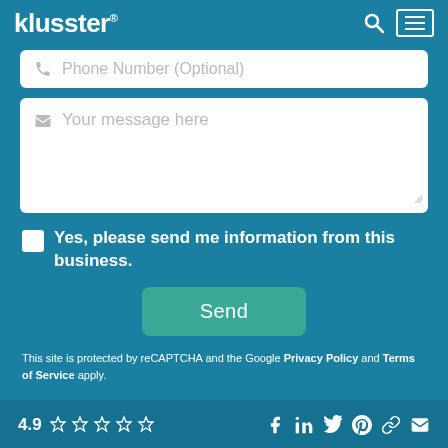klusster®
[Figure (screenshot): Phone number optional input field with phone icon and placeholder text]
[Figure (screenshot): Message textarea with envelope icon and placeholder 'Your message here']
Yes, please send me information from this business.
[Figure (screenshot): Send button in teal/green color]
This site is protected by reCAPTCHA and the Google Privacy Policy and Terms of Service apply.
4.9 ★★★★★  social icons: Facebook, LinkedIn, Twitter, Pinterest, Link, Email